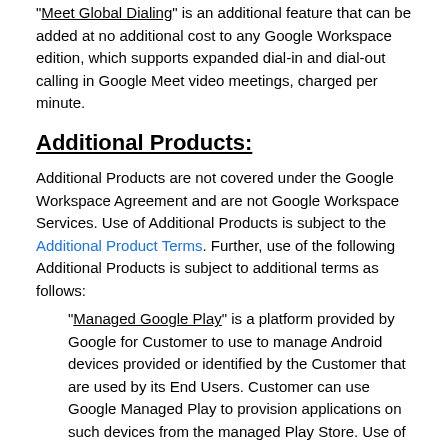"Meet Global Dialing" is an additional feature that can be added at no additional cost to any Google Workspace edition, which supports expanded dial-in and dial-out calling in Google Meet video meetings, charged per minute.
Additional Products:
Additional Products are not covered under the Google Workspace Agreement and are not Google Workspace Services. Use of Additional Products is subject to the Additional Product Terms. Further, use of the following Additional Products is subject to additional terms as follows:
"Managed Google Play" is a platform provided by Google for Customer to use to manage Android devices provided or identified by the Customer that are used by its End Users. Customer can use Google Managed Play to provision applications on such devices from the managed Play Store. Use of Google Managed Play is subject to the terms at www.android.com/enterprise/terms.